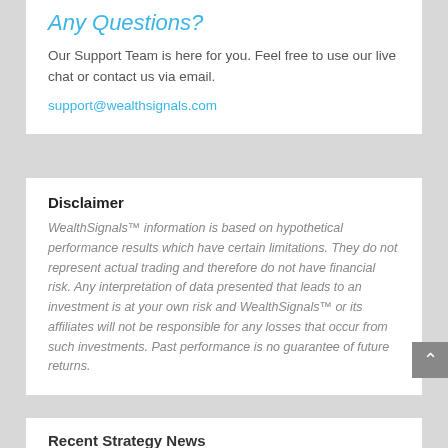Any Questions?
Our Support Team is here for you. Feel free to use our live chat or contact us via email.
support@wealthsignals.com
Disclaimer
WealthSignals™ information is based on hypothetical performance results which have certain limitations. They do not represent actual trading and therefore do not have financial risk. Any interpretation of data presented that leads to an investment is at your own risk and WealthSignals™ or its affiliates will not be responsible for any losses that occur from such investments. Past performance is no guarantee of future returns.
Recent Strategy News